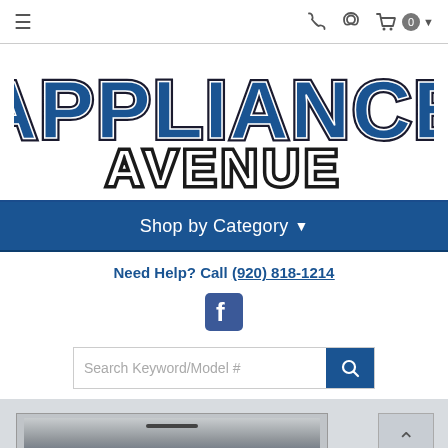Navigation bar with hamburger menu, phone, location, and cart icons
[Figure (logo): Appliance Avenue logo with large blue block letters 'APPLIANCE' and outlined white 'AVENUE' text]
Shop by Category ▾
Need Help? Call (920) 818-1214
[Figure (logo): Facebook icon in blue square]
Search Keyword/Model #
[Figure (photo): Partial view of a stainless steel dishwasher front panel]